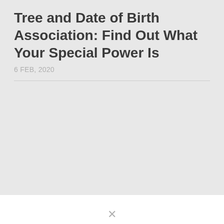Tree and Date of Birth Association: Find Out What Your Special Power Is
6 FEB, 2020